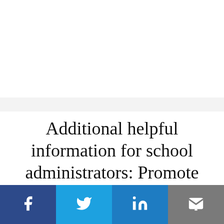Additional helpful information for school administrators: Promote behaviors that reduce the spread